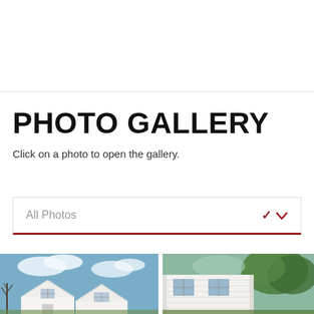PHOTO GALLERY
Click on a photo to open the gallery.
All Photos
[Figure (photo): Exterior photo of a white house with gabled roof against a blue sky with clouds]
[Figure (photo): Exterior photo of a white house with siding and trees]